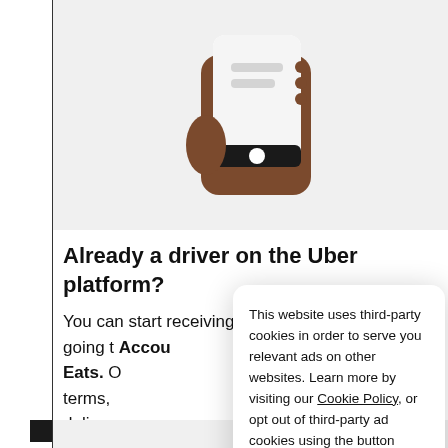[Figure (illustration): A hand holding a mobile phone showing the Uber app interface, rendered as a stylized illustration with brown skin tones against a light gray background.]
Already a driver on the Uber platform?
You can start receiving delivery requests by going to Account > Work Hub > Uber Eats. Once you've accepted the terms, you can start receiving delivery requests.
Learn a
This website uses third-party cookies in order to serve you relevant ads on other websites. Learn more by visiting our Cookie Policy, or opt out of third-party ad cookies using the button below.